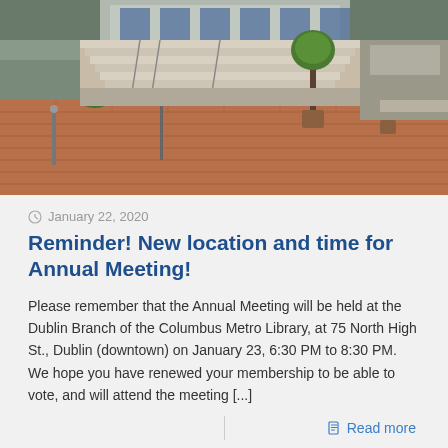[Figure (photo): Outdoor plaza with brick pavement, trees, concrete steps and metal railings, modern building in background]
January 22, 2020
Reminder! New location and time for Annual Meeting!
Please remember that the Annual Meeting will be held at the Dublin Branch of the Columbus Metro Library, at 75 North High St., Dublin (downtown) on January 23, 6:30 PM to 8:30 PM. We hope you have renewed your membership to be able to vote, and will attend the meeting [...]
Read more